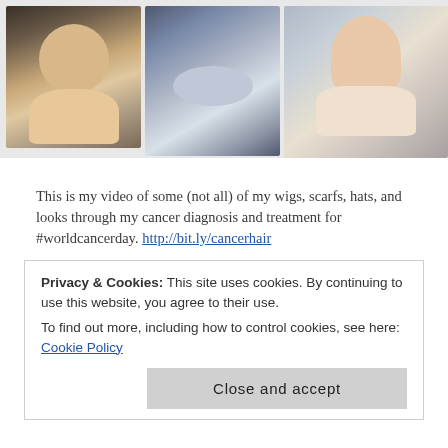[Figure (photo): Three photos in a row: left shows a smiling woman with short hair, middle shows a person reclining in swimwear, right shows a woman in a white bikini top]
This is my video of some (not all) of my wigs, scarfs, hats, and looks through my cancer diagnosis and treatment for #worldcancerday. http://bit.ly/cancerhair
I have put this together to try to raise awareness for Cancer and treatment and how it affects you and how you can stay Positive throughout the battle!
I am currently raising money to create a website and App to help people after a cancer diagnosis and treatment get back to 'normal life', but I don't want it to be
Privacy & Cookies: This site uses cookies. By continuing to use this website, you agree to their use.
To find out more, including how to control cookies, see here: Cookie Policy
Close and accept